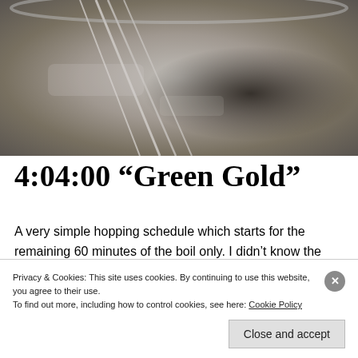[Figure (photo): Close-up photograph of a metal whisk or wire strainer in a brewing kettle or pot, showing metallic wires and a dark shadow/residue area on the bottom of the vessel]
4:04:00 “Green Gold”
A very simple hopping schedule which starts for the remaining 60 minutes of the boil only. I didn’t know the evaporation rate of the new kettle (yes, I could have done the experiment but I don’t mind adjusting on the
Privacy & Cookies: This site uses cookies. By continuing to use this website, you agree to their use.
To find out more, including how to control cookies, see here: Cookie Policy
Close and accept